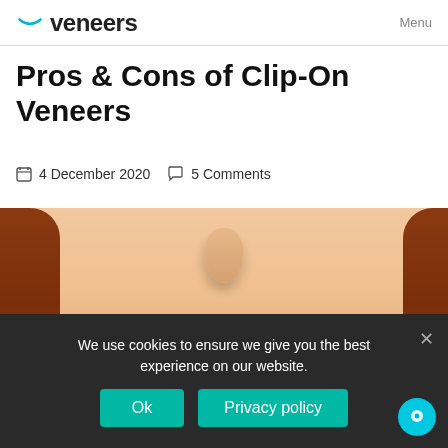veneers  Menu
Pros & Cons of Clip-On Veneers
4 December 2020   5 Comments
[Figure (photo): Close-up of a woman with red hair smiling, showing white teeth against red lips, nose visible]
We use cookies to ensure we give you the best experience on our website.
Ok   Privacy policy